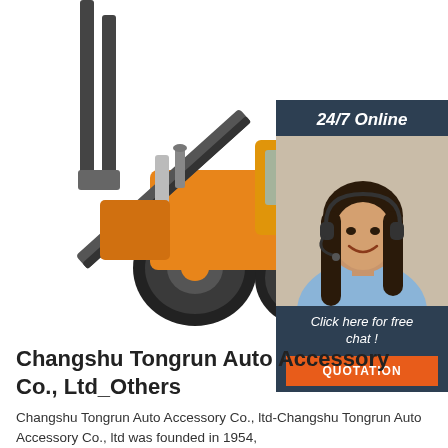[Figure (photo): Orange heavy construction wheel loader / forklift machine on white background, tilted/angled view showing large front forks and big tires]
[Figure (illustration): 24/7 Online chat widget with dark blue background, photo of smiling female customer service agent wearing headset, text 'Click here for free chat!' and orange QUOTATION button]
Changshu Tongrun Auto Accessory Co., Ltd_Others
Changshu Tongrun Auto Accessory Co., ltd-Changshu Tongrun Auto Accessory Co., ltd was founded in 1954,